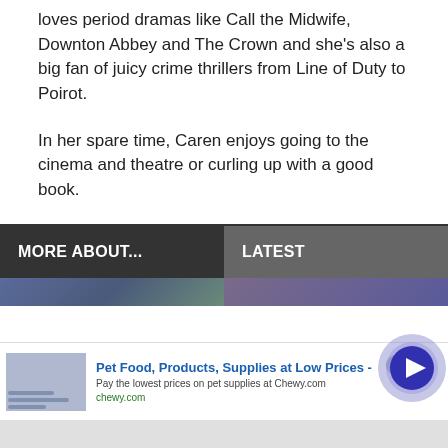loves period dramas like Call the Midwife, Downton Abbey and The Crown and she’s also a big fan of juicy crime thrillers from Line of Duty to Poirot.
In her spare time, Caren enjoys going to the cinema and theatre or curling up with a good book.
MORE ABOUT...
LATEST
[Figure (screenshot): Advertisement banner for Chewy.com pet supplies, showing product image, bold title 'Pet Food, Products, Supplies at Low Prices -', description text, chewy.com URL, close button, and play button overlay.]